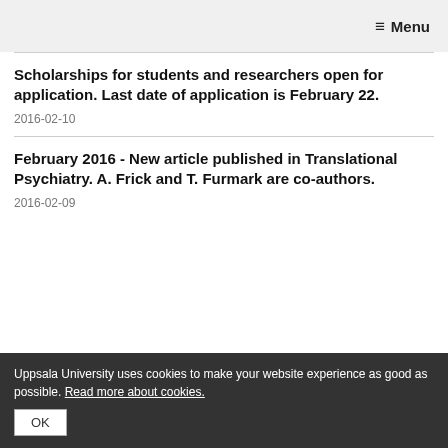≡ Menu
Scholarships for students and researchers open for application. Last date of application is February 22.
2016-02-10
February 2016 - New article published in Translational Psychiatry. A. Frick and T. Furmark are co-authors.
2016-02-09
Uppsala University uses cookies to make your website experience as good as possible. Read more about cookies. OK